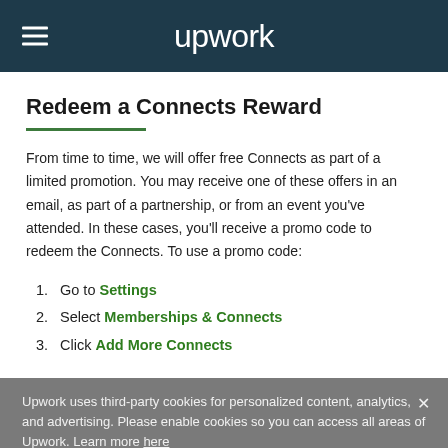upwork
Redeem a Connects Reward
From time to time, we will offer free Connects as part of a limited promotion. You may receive one of these offers in an email, as part of a partnership, or from an event you've attended. In these cases, you'll receive a promo code to redeem the Connects. To use a promo code:
1. Go to Settings
2. Select Memberships & Connects
3. Click Add More Connects
Upwork uses third-party cookies for personalized content, analytics, and advertising. Please enable cookies so you can access all areas of Upwork. Learn more here